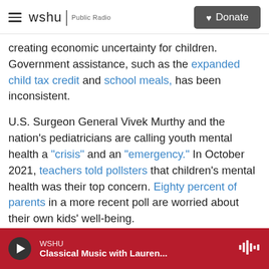wshu | Public Radio  [Donate]
creating economic uncertainty for children. Government assistance, such as the expanded child tax credit and school meals, has been inconsistent.
U.S. Surgeon General Vivek Murthy and the nation's pediatricians are calling youth mental health a "crisis" and an "emergency." In October 2021, teachers told pollsters that children's mental health was their top concern. Eighty percent of parents in a more recent poll are worried about their own kids' well-being.
As a bright spot, now that things are reopening
WSHU — Classical Music with Lauren...